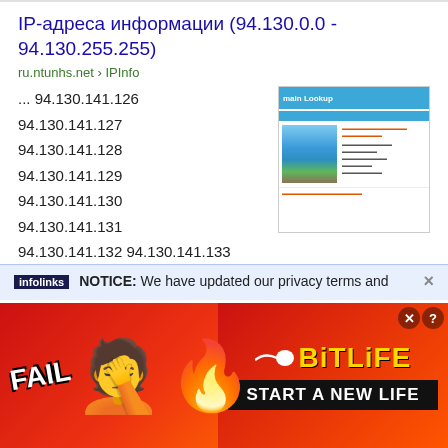IP-адреса информации (94.130.0.0 - 94.130.255.255)
ru.ntunhs.net › IPInfo
... 94.130.141.126
94.130.141.127
94.130.141.128
94.130.141.129
94.130.141.130
94.130.141.131
94.130.141.132 94.130.141.133
94.130.141.134 94.130.141.135 ...
[Figure (screenshot): Thumbnail screenshot of a Domain Lookup webpage with a blue header, a landscape photo, and orange text content]
Search for 94.130.141.134 on Google
NOTICE: We have updated our privacy terms and
[Figure (photo): Advertisement banner for BitLife game showing FAIL text, emoji, flame, and START A NEW LIFE tagline on red background]